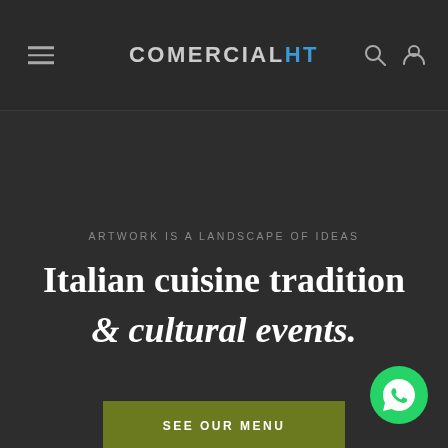COMERCIALHT
ARTWORK IS A LANDSCAPE OF IDEAS
Italian cuisine tradition & cultural events.
SEE OUR MENU
[Figure (logo): WhatsApp floating button icon, green circle with white phone handset]